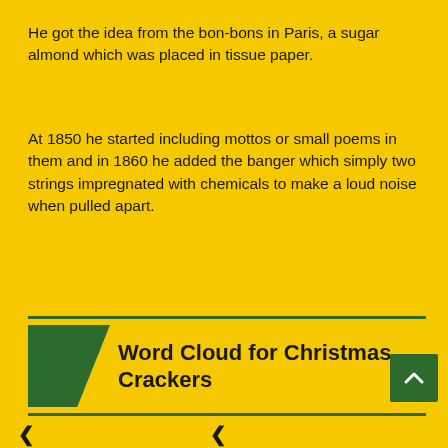He got the idea from the bon-bons in Paris, a sugar almond which was placed in tissue paper.
At 1850 he started including mottos or small poems in them and in 1860 he added the banger which simply two strings impregnated with chemicals to make a loud noise when pulled apart.
Word Cloud for Christmas Crackers
The following is a collection of the most used terms in this article on Christmas Crackers. This should help in recalling related terms as used in this article at a later stage for you.